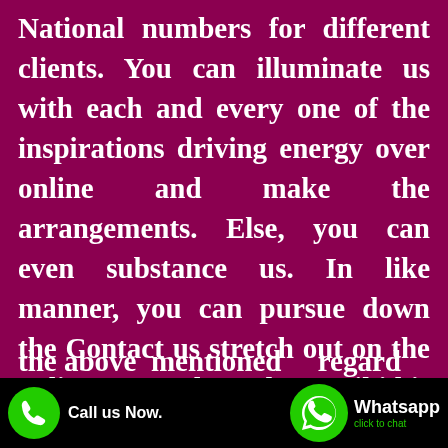National numbers for different clients. You can illuminate us with each and every one of the inspirations driving energy over online and make the arrangements. Else, you can even substance us. In like manner, you can pursue down the Contact us stretch out on the online stage where the email id is given. You can mail us with each and every one reason for energy for the equivalent. We should hit you up at the soonest opportunity in light of the above mentioned the regard
[Figure (infographic): Bottom bar with black background containing a green phone icon with 'Call us Now.' text on the left, and a green WhatsApp logo icon with 'Whatsapp click to chat' text on the right.]